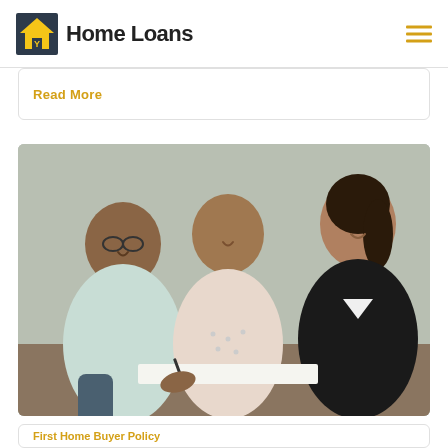Home Loans
Read More
[Figure (photo): A couple signing documents with a female loan advisor smiling and assisting them at a table.]
First Home Buyer Policy